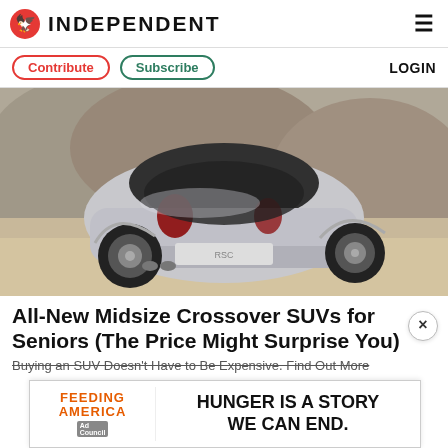INDEPENDENT
Contribute  Subscribe  LOGIN
[Figure (photo): Rear three-quarter view of a silver concept crossover SUV parked on a sandy terrain with large rocks in the background. The vehicle has a futuristic rounded design, large off-road tires, chrome wheels, and dual exhausts.]
All-New Midsize Crossover SUVs for Seniors (The Price Might Surprise You)
Buying an SUV Doesn't Have to Be Expensive. Find Out More
[Figure (infographic): Feeding America Ad Council advertisement banner reading: HUNGER IS A STORY WE CAN END.]